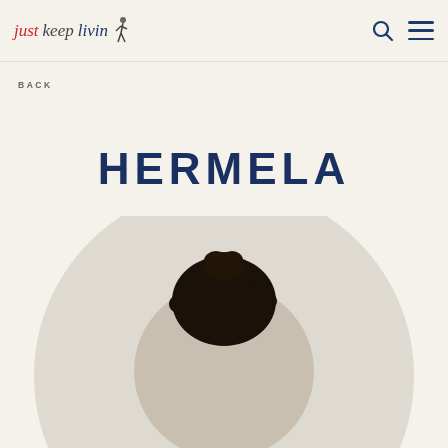just keep livin — navigation header with search and menu icons
BACK
HERMELA
[Figure (photo): Circular cropped headshot photo of a person with natural hair in an updo bun, photographed against a light background. Only the top of the head and hair are visible in this cropped view.]